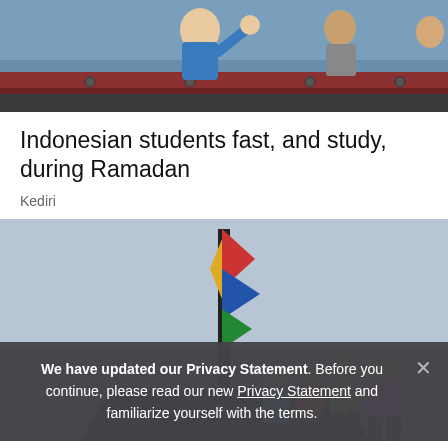[Figure (photo): Top portion of photo showing children/students, one in blue hoodie waving, with a dark red railing/fence visible, overcast sky background]
Indonesian students fast, and study, during Ramadan
Kediri
[Figure (photo): Photo of several children/young people from behind, gathered around a tall colorful pole or mast on what appears to be a boat, against a hazy grey sky]
We have updated our Privacy Statement. Before you continue, please read our new Privacy Statement and familiarize yourself with the terms.